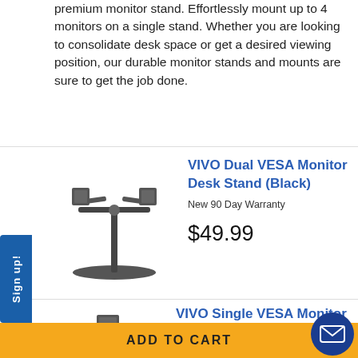premium monitor stand. Effortlessly mount up to 4 monitors on a single stand. Whether you are looking to consolidate desk space or get a desired viewing position, our durable monitor stands and mounts are sure to get the job done.
[Figure (photo): VIVO Dual VESA Monitor Desk Stand (Black) product photo showing a dual-arm monitor stand with T-shaped base]
VIVO Dual VESA Monitor Desk Stand (Black)
New 90 Day Warranty
$49.99
[Figure (photo): VIVO Single VESA Monitor Desk Stand product photo showing a single-arm monitor stand with wide base]
VIVO Single VESA Monitor Desk Stand
New 90 Day Warranty
ADD TO CART